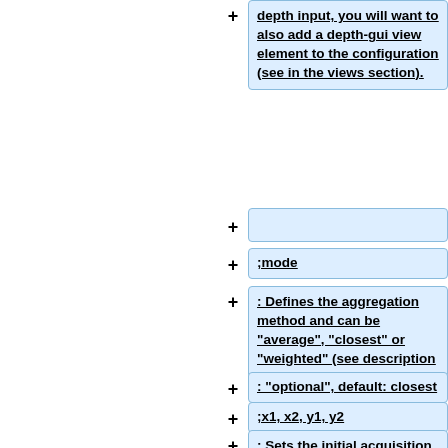depth input, you will want to also add a depth-gui view element to the configuration (see in the views section).
;mode
: Defines the aggregation method and can be "average", "closest" or "weighted" (see description above).
: "optional", default: closest
;x1, x2, y1, y2
: Sets the initial acquisition area, which can still be modified by the user. x1 and x2 describe the horizontal